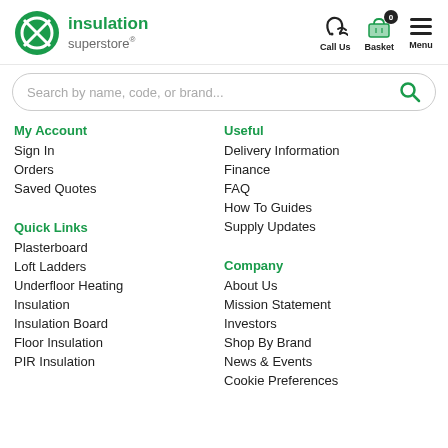[Figure (logo): Insulation Superstore logo with green circle icon and text 'insulation superstore']
[Figure (infographic): Header navigation icons: Call Us (phone icon), Basket (cart icon with 0 badge), Menu (hamburger icon)]
[Figure (infographic): Search bar with placeholder text 'Search by name, code, or brand...' and green search icon]
My Account
Sign In
Orders
Saved Quotes
Useful
Delivery Information
Finance
FAQ
How To Guides
Supply Updates
Quick Links
Plasterboard
Loft Ladders
Underfloor Heating
Insulation
Insulation Board
Floor Insulation
PIR Insulation
Company
About Us
Mission Statement
Investors
Shop By Brand
News & Events
Cookie Preferences